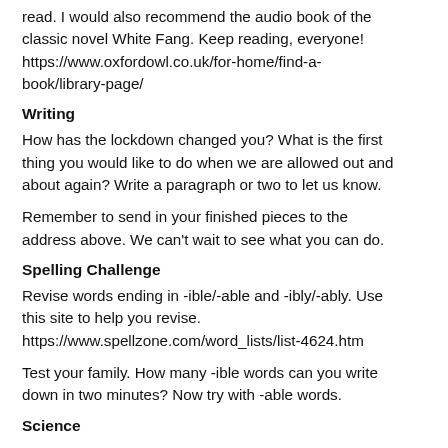read. I would also recommend the audio book of the classic novel White Fang. Keep reading, everyone! https://www.oxfordowl.co.uk/for-home/find-a-book/library-page/
Writing
How has the lockdown changed you? What is the first thing you would like to do when we are allowed out and about again? Write a paragraph or two to let us know.
Remember to send in your finished pieces to the address above. We can't wait to see what you can do.
Spelling Challenge
Revise words ending in -ible/-able and -ibly/-ably. Use this site to help you revise. https://www.spellzone.com/word_lists/list-4624.htm
Test your family. How many -ible words can you write down in two minutes? Now try with -able words.
Science